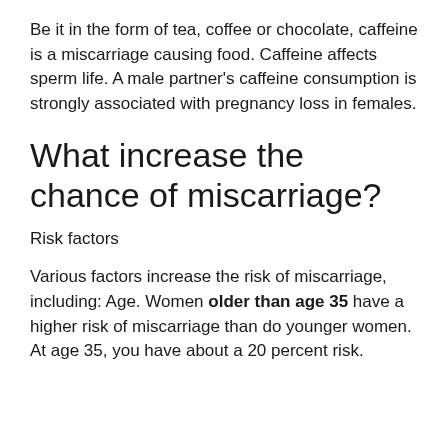Be it in the form of tea, coffee or chocolate, caffeine is a miscarriage causing food. Caffeine affects sperm life. A male partner's caffeine consumption is strongly associated with pregnancy loss in females.
What increase the chance of miscarriage?
Risk factors
Various factors increase the risk of miscarriage, including: Age. Women older than age 35 have a higher risk of miscarriage than do younger women. At age 35, you have about a 20 percent risk.